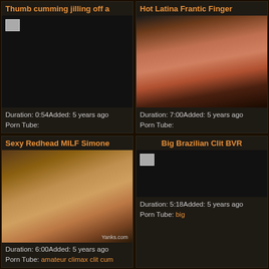Thumb cumming jilling off a
Duration: 0:54Added: 5 years ago
Porn Tube:
Hot Latina Frantic Finger
[Figure (photo): Video thumbnail of a woman lying down]
Duration: 7:00Added: 5 years ago
Porn Tube:
Sexy Redhead MILF Simone
[Figure (photo): Video thumbnail of a redhead woman with vibrator, Yanks.com watermark]
Duration: 6:00Added: 5 years ago
Porn Tube: amateur climax clit cum
Big Brazilian Clit BVR
Duration: 5:18Added: 5 years ago
Porn Tube: big